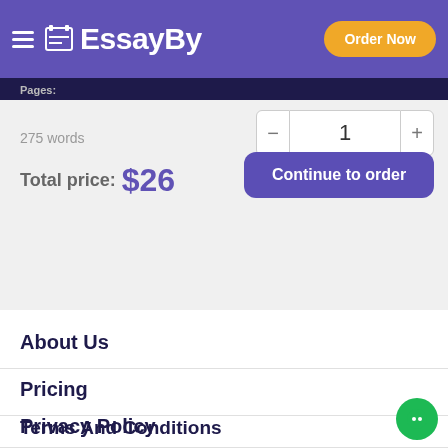EssayBy — Order Now
Pages: 275 words
Total price: $26
Continue to order
About Us
Pricing
Terms And Conditions
Privacy Policy